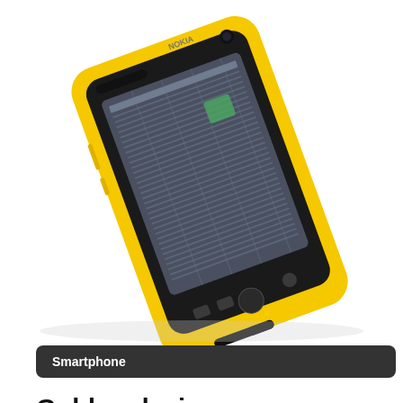[Figure (photo): A yellow Nokia Lumia smartphone shown at an angle, displaying a data/table screen. The phone has a bright yellow polycarbonate body with black front face, visible Windows Phone buttons, and speaker grills.]
Smartphone
Golden devices
EMITE are the only test systems able to mimic results from others using the patented No-VNA calibration algorithm, for which golden devices with known TRP/TIS values are used. A perfect match with STD below 0.02 dB can be obtained, making inter-lab and intra-lab